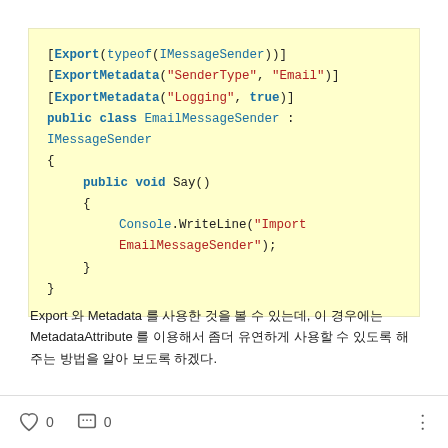[Figure (screenshot): Code block on light yellow background showing C# class with Export and ExportMetadata attributes, EmailMessageSender class implementing IMessageSender with Say() method that writes 'Import EmailMessageSender' to console.]
Export 와 Metadata 를 사용한 것을 볼 수 있는데, 이 경우에는 MetadataAttribute 를 이용해서 좀더 유연하게 사용할 수 있도록 해주는 방법을 알아 보도록 하겠다.
0  0  ⋮